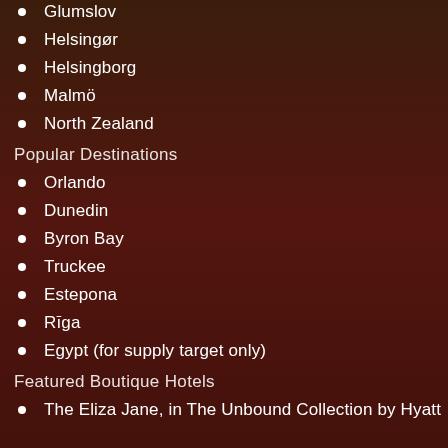Glumslov
Helsingør
Helsingborg
Malmö
North Zealand
Popular Destinations
Orlando
Dunedin
Byron Bay
Truckee
Estepona
Rīga
Egypt (for supply target only)
Featured Boutique Hotels
The Eliza Jane, in The Unbound Collection by Hyatt